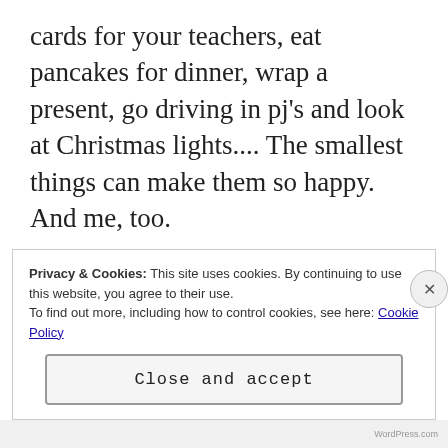cards for your teachers, eat pancakes for dinner, wrap a present, go driving in pj's and look at Christmas lights.... The smallest things can make them so happy. And me, too.
Advertisements
I see the value of tradition during the holidays more than ever. These are the moments they will remember as they grow, and that idea of creating
Privacy & Cookies: This site uses cookies. By continuing to use this website, you agree to their use.
To find out more, including how to control cookies, see here: Cookie Policy
Close and accept